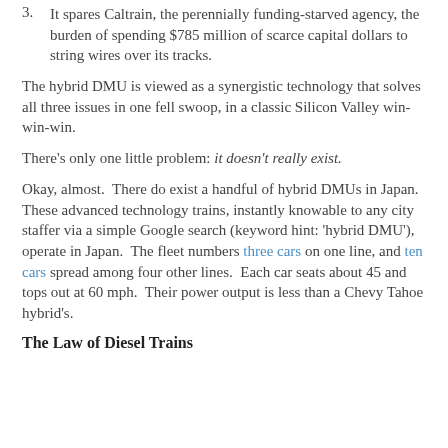3. It spares Caltrain, the perennially funding-starved agency, the burden of spending $785 million of scarce capital dollars to string wires over its tracks.
The hybrid DMU is viewed as a synergistic technology that solves all three issues in one fell swoop, in a classic Silicon Valley win-win-win.
There's only one little problem: it doesn't really exist.
Okay, almost.  There do exist a handful of hybrid DMUs in Japan.  These advanced technology trains, instantly knowable to any city staffer via a simple Google search (keyword hint: 'hybrid DMU'), operate in Japan.  The fleet numbers three cars on one line, and ten cars spread among four other lines.  Each car seats about 45 and tops out at 60 mph.  Their power output is less than a Chevy Tahoe hybrid's.
The Law of Diesel Trains